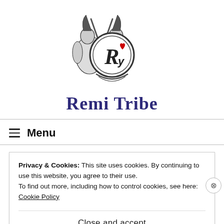[Figure (logo): Remi Tribe logo: two muscular armored figures holding swords flanking a circular emblem with a stylized R letter and a small red heart]
Remi Tribe
Menu
Privacy & Cookies: This site uses cookies. By continuing to use this website, you agree to their use.
To find out more, including how to control cookies, see here: Cookie Policy
Close and accept